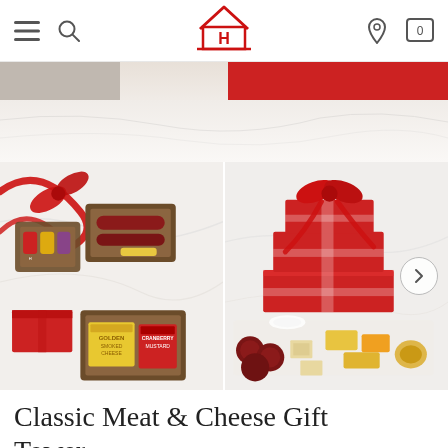Hickory Farms website navigation bar with hamburger menu, search, logo, location pin, and shopping cart icons
[Figure (photo): Banner showing a gift box with red lid on marble surface]
[Figure (photo): Left product image: Hickory Farms meat and cheese gift set with crackers, sausage, mustard, and cheese packages on marble surface with red ribbon]
[Figure (photo): Right product image: Classic Meat and Cheese Gift Tower — stacked red gift boxes tied with red ribbon, with meat, cheese, and crackers displayed in front]
Classic Meat & Cheese Gift Tower